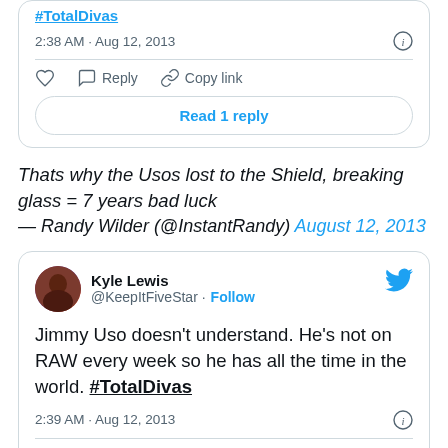#TotalDivas
2:38 AM · Aug 12, 2013
Read 1 reply
Thats why the Usos lost to the Shield, breaking glass = 7 years bad luck — Randy Wilder (@InstantRandy) August 12, 2013
Kyle Lewis @KeepItFiveStar · Follow
Jimmy Uso doesn't understand. He's not on RAW every week so he has all the time in the world. #TotalDivas
2:39 AM · Aug 12, 2013
3  Reply  Copy link to Tweet